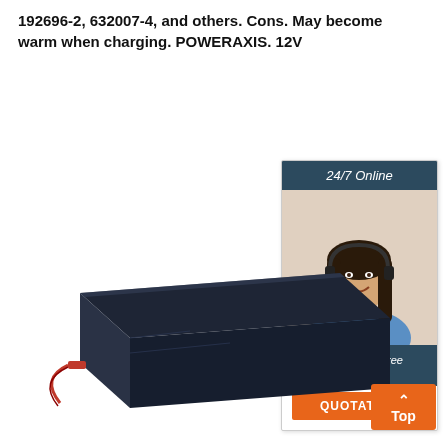192696-2, 632007-4, and others. Cons. May become warm when charging. POWERAXIS. 12V
[Figure (illustration): Customer service chat widget with dark blue header '24/7 Online', photo of a smiling woman with headset, dark blue footer 'Click here for free chat!' and orange QUOTATION button]
[Figure (photo): Dark navy blue rectangular battery pack with red wire connector, shown at an angle on white background]
[Figure (other): Orange 'Top' button with upward caret arrow, bottom right corner]